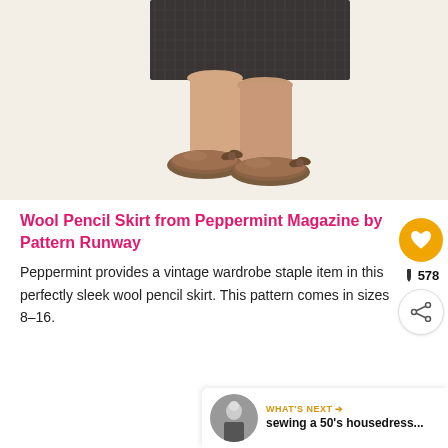[Figure (photo): Close-up of woman's legs wearing a dark tweed/herringbone pencil skirt and bronze/copper metallic flat shoes with a small bow on a cream/off-white background]
Wool Pencil Skirt from Peppermint Magazine by Pattern Runway
Peppermint provides a vintage wardrobe staple item in this perfectly sleek wool pencil skirt. This pattern comes in sizes 8-16.